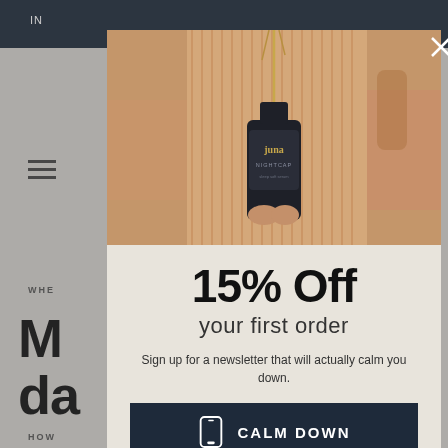[Figure (screenshot): Website page screenshot partially visible in background showing a blog article with navigation header, hamburger menu, search icon, article title beginning with 'M' and 'da', section header 'HOW' and text beginning with 'Drop', and bullet points starting with 'In' and 'W']
[Figure (photo): Product photo showing a person holding a Juna brand 'Nightcap' dark glass dropper bottle with gold accents, partially seen ribbed beige clothing, warm amber toned background]
15% Off
your first order
Sign up for a newsletter that will actually calm you down.
CALM DOWN
By joining via text messages, you agree to receive recurring marketing messages (e.g. cart abandon) from Juna at the mobile number used to send the join text message. Msg & data